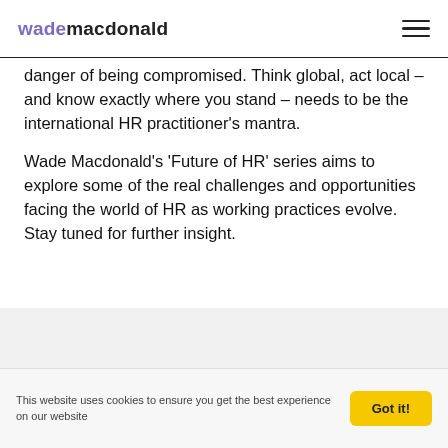wade macdonald
danger of being compromised. Think global, act local – and know exactly where you stand – needs to be the international HR practitioner's mantra.
Wade Macdonald's 'Future of HR' series aims to explore some of the real challenges and opportunities facing the world of HR as working practices evolve. Stay tuned for further insight.
This website uses cookies to ensure you get the best experience on our website  Got it!